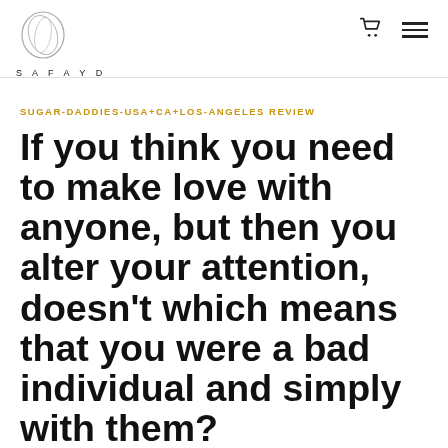SAFAYD
SUGAR-DADDIES-USA+CA+LOS-ANGELES REVIEW
If you think you need to make love with anyone, but then you alter your attention, doesn't which means that you were a bad individual and simply with them?